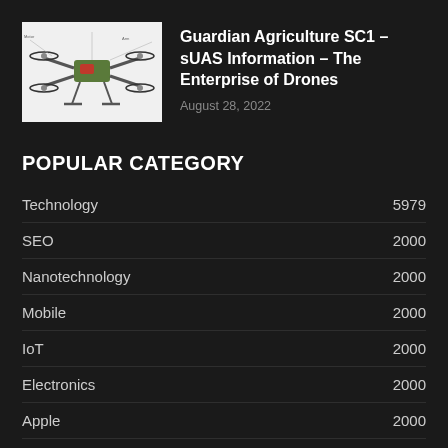[Figure (photo): Agricultural drone (Guardian Agriculture SC1) schematic/photo with white background showing drone with propellers and landing gear]
Guardian Agriculture SC1 – sUAS Information – The Enterprise of Drones
August 28, 2022
POPULAR CATEGORY
Technology 5979
SEO 2000
Nanotechnology 2000
Mobile 2000
IoT 2000
Electronics 2000
Apple 2000
Big Data 2000